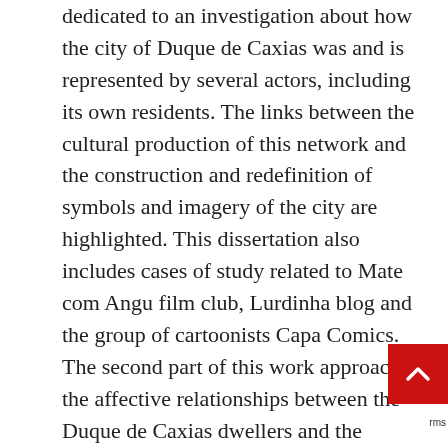dedicated to an investigation about how the city of Duque de Caxias was and is represented by several actors, including its own residents. The links between the cultural production of this network and the construction and redefinition of symbols and imagery of the city are highlighted. This dissertation also includes cases of study related to Mate com Angu film club, Lurdinha blog and the group of cartoonists Capa Comics. The second part of this work approaches the affective relationships between the Duque de Caxias dwellers and the inhabited territories, transformed many times by the cultural productions that emphasize the belonging perceptions to the city. The encouragement of the best use of the public sp... and the creation of leisure equipment are presented as essential in this process. The results